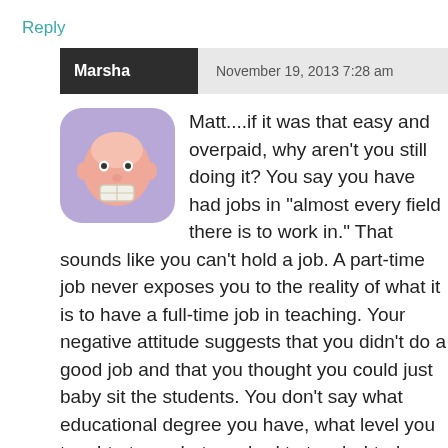Reply
Marsha   November 19, 2013 7:28 am
[Figure (illustration): Cartoon avatar of a face with a bandage over the mouth, set against a purple rounded square background]
Matt....if it was that easy and overpaid, why aren't you still doing it? You say you have had jobs in “almost every field there is to work in.” That sounds like you can’t hold a job. A part-time job never exposes you to the reality of what it is to have a full-time job in teaching. Your negative attitude suggests that you didn’t do a good job and that you thought you could just baby sit the students. You don’t say what educational degree you have, what level you taught at, or what you had to teach. I truly hope you can find a job that you are passionate about because you need some